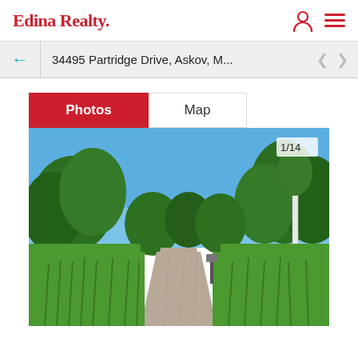Edina Realty
34495 Partridge Drive, Askov, M...
Photos | Map
[Figure (photo): Outdoor gravel path or driveway flanked by lush green trees and tall grass under a clear blue sky. Counter shows 1/14.]